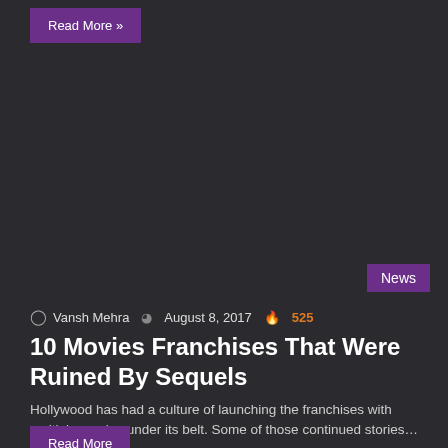Read More »
News
Vansh Mehra  August 8, 2017  525
10 Movies Franchises That Were Ruined By Sequels
Hollywood has had a culture of launching the franchises with multiple movies under its belt. Some of those continued stories…
Read More